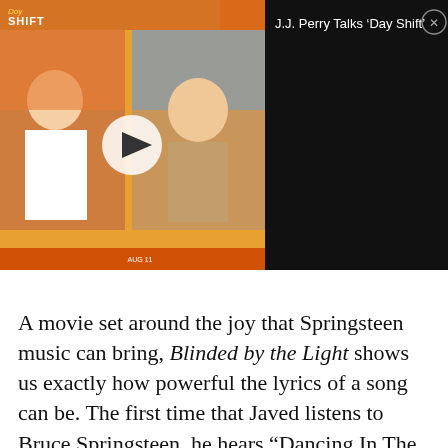[Figure (screenshot): Video thumbnail showing two people in a split screen with a Day Shift movie logo and a play button overlay, alongside a dark panel with the title 'J.J. Perry Talks Day Shift' and a close button.]
A movie set around the joy that Springsteen music can bring, Blinded by the Light shows us exactly how powerful the lyrics of a song can be. The first time that Javed listens to Bruce Springsteen, he hears “Dancing In The Dark,” thrown out into a storm and angry with the situation that he’s in with his family. As the song transitions into “The Promised Land,”